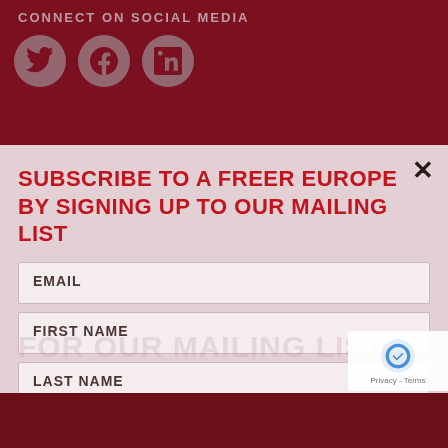CONNECT ON SOCIAL MEDIA
[Figure (illustration): Three social media icon circles: Twitter bird, Facebook f, LinkedIn in — shown on dark red background]
SUBSCRIBE TO A FREER EUROPE BY SIGNING UP TO OUR MAILING LIST
EMAIL
FIRST NAME
LAST NAME
SUBSCRIBE
[Figure (logo): reCAPTCHA badge with Privacy - Terms text]